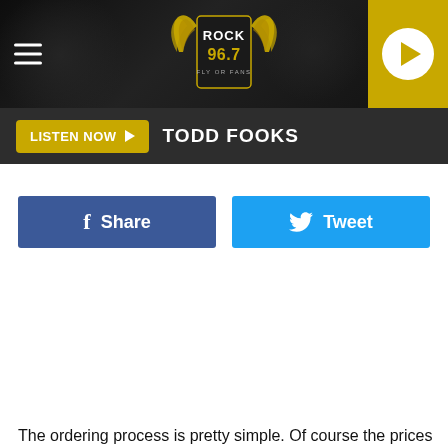Rock 96.7 - LISTEN NOW - TODD FOOKS
[Figure (logo): Rock 96.7 radio station logo with wings, gold and white text on dark background]
LISTEN NOW ▶ TODD FOOKS
Share
Tweet
The ordering process is pretty simple. Of course the prices